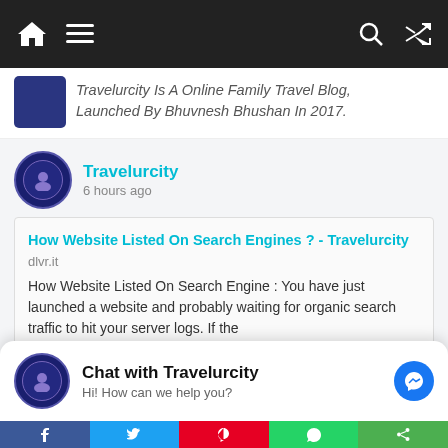Navigation bar with home, menu, search, and share icons
Travelurcity Is A Online Family Travel Blog, Launched By Bhuvnesh Bhushan In 2017.
Travelurcity
6 hours ago
How Website Listed On Search Engines ? - Travelurcity
dlvr.it
How Website Listed On Search Engine : You have just launched a website and probably waiting for organic search traffic to hit your server logs. If the
View on Facebook · Share
Travelurcity
Chat with Travelurcity
Hi! How can we help you?